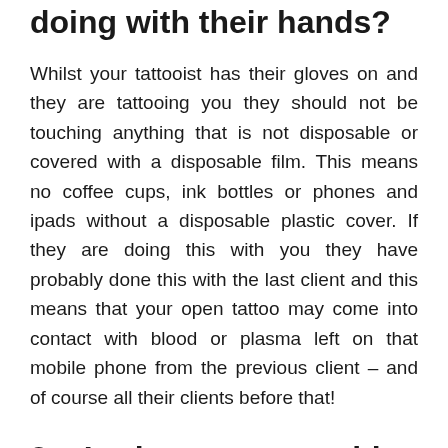doing with their hands?
Whilst your tattooist has their gloves on and they are tattooing you they should not be touching anything that is not disposable or covered with a disposable film. This means no coffee cups, ink bottles or phones and ipads without a disposable plastic cover. If they are doing this with you they have probably done this with the last client and this means that your open tattoo may come into contact with blood or plasma left on that mobile phone from the previous client – and of course all their clients before that!
2.  Is the tattoo machine covered?